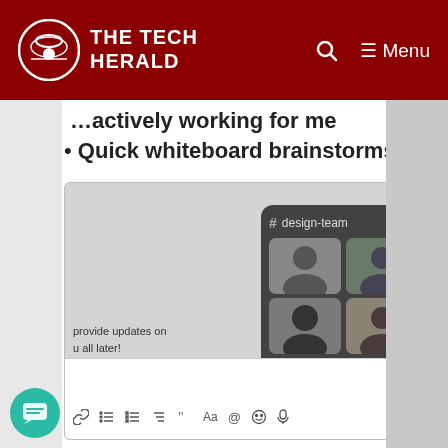THE TECH HERALD
…actively working for me
Quick whiteboard brainstorms
[Figure (screenshot): Screenshot of a messaging app showing a Slack-like #design-team channel card with a grid of 6 user avatars and a Join button, plus a message input toolbar below, and a chat bubble FAB in the lower left.]